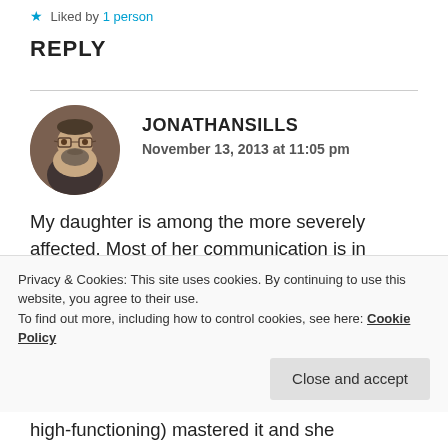Liked by 1 person
REPLY
[Figure (photo): Circular avatar photo of a middle-aged man with glasses and a beard, wearing dark clothing, against a warm-toned background.]
JONATHANSILLS
November 13, 2013 at 11:05 pm
My daughter is among the more severely affected. Most of her communication is in quotes from Disney movies, or simply incoherent moans and whimpers until I figure out what the problem is. She will eat only waffles for breakfast, a jelly
Privacy & Cookies: This site uses cookies. By continuing to use this website, you agree to their use.
To find out more, including how to control cookies, see here: Cookie Policy
Close and accept
high-functioning) mastered it and she apparently